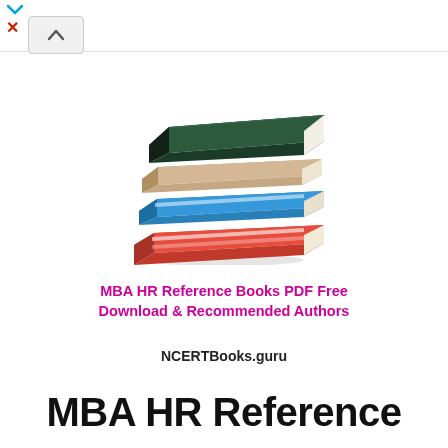[Figure (illustration): Stack of books illustration showing multiple books stacked on top of each other. Top book has a dark green cover, underneath are books with blue, tan/beige, and red covers.]
MBA HR Reference Books PDF Free Download & Recommended Authors
NCERTBooks.guru
MBA HR Reference